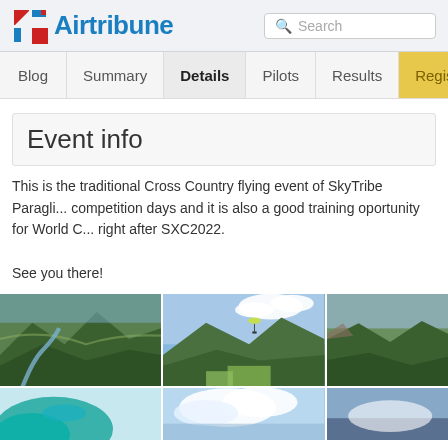Airtribune
Blog | Summary | Details | Pilots | Results | Registra
Event info
This is the traditional Cross Country flying event of SkyTribe Paragli... competition days and it is also a good training oportunity for World C... right after SXC2022.

See you there!
[Figure (photo): Three aerial photographs of mountain/valley landscapes used for paragliding, with a paraglider visible in the center photo. A second row of photos partially visible at the bottom.]